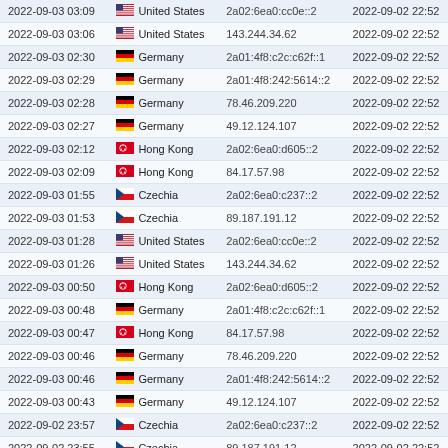| Date/Time | Country | IP Address | Date2 |
| --- | --- | --- | --- |
| 2022-09-03 03:09 | United States | 2a02:6ea0:cc0e::2 | 2022-09-02 22:52 |
| 2022-09-03 03:06 | United States | 143.244.34.62 | 2022-09-02 22:52 |
| 2022-09-03 02:30 | Germany | 2a01:4f8:c2c:c62f::1 | 2022-09-02 22:52 |
| 2022-09-03 02:29 | Germany | 2a01:4f8:242:5614::2 | 2022-09-02 22:52 |
| 2022-09-03 02:28 | Germany | 78.46.209.220 | 2022-09-02 22:52 |
| 2022-09-03 02:27 | Germany | 49.12.124.107 | 2022-09-02 22:52 |
| 2022-09-03 02:12 | Hong Kong | 2a02:6ea0:d605::2 | 2022-09-02 22:52 |
| 2022-09-03 02:09 | Hong Kong | 84.17.57.98 | 2022-09-02 22:52 |
| 2022-09-03 01:55 | Czechia | 2a02:6ea0:c237::2 | 2022-09-02 22:52 |
| 2022-09-03 01:53 | Czechia | 89.187.191.12 | 2022-09-02 22:52 |
| 2022-09-03 01:28 | United States | 2a02:6ea0:cc0e::2 | 2022-09-02 22:52 |
| 2022-09-03 01:26 | United States | 143.244.34.62 | 2022-09-02 22:52 |
| 2022-09-03 00:50 | Hong Kong | 2a02:6ea0:d605::2 | 2022-09-02 22:52 |
| 2022-09-03 00:48 | Germany | 2a01:4f8:c2c:c62f::1 | 2022-09-02 22:52 |
| 2022-09-03 00:47 | Hong Kong | 84.17.57.98 | 2022-09-02 22:52 |
| 2022-09-03 00:46 | Germany | 78.46.209.220 | 2022-09-02 22:52 |
| 2022-09-03 00:46 | Germany | 2a01:4f8:242:5614::2 | 2022-09-02 22:52 |
| 2022-09-03 00:43 | Germany | 49.12.124.107 | 2022-09-02 22:52 |
| 2022-09-02 23:57 | Czechia | 2a02:6ea0:c237::2 | 2022-09-02 22:52 |
| 2022-09-02 23:55 | Czechia | 89.187.191.12 | 2022-09-02 22:52 |